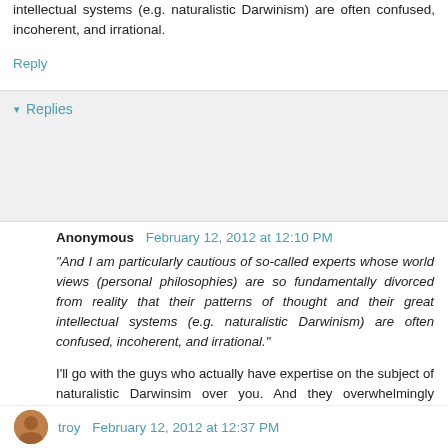intellectual systems (e.g. naturalistic Darwinism) are often confused, incoherent, and irrational.
Reply
Replies
Anonymous  February 12, 2012 at 12:10 PM
"And I am particularly cautious of so-called experts whose world views (personal philosophies) are so fundamentally divorced from reality that their patterns of thought and their great intellectual systems (e.g. naturalistic Darwinism) are often confused, incoherent, and irrational."
I'll go with the guys who actually have expertise on the subject of naturalistic Darwinsim over you. And they overwhelmingly disagree with your insipid claims.
troy  February 12, 2012 at 12:37 PM